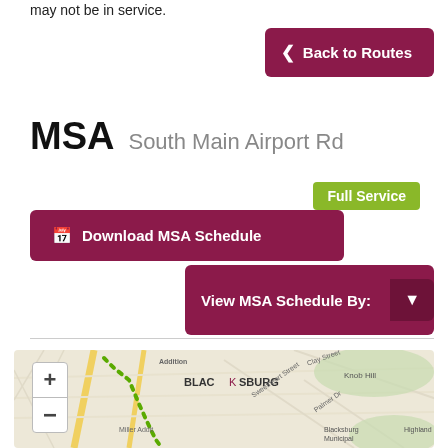may not be in service.
Back to Routes
MSA South Main Airport Rd
Full Service
Download MSA Schedule
View MSA Schedule By:
[Figure (map): Street map showing Blacksburg area with MSA bus route plotted as a green dotted line running diagonally through the city, passing through areas labeled Blacksburg, Knob Hill, Miller Addition, and near Blacksburg Municipal and Highland areas. Map shows street names including Clay Street, Sweetheart Street, Palmer Drive. Map includes zoom controls (+/-).]